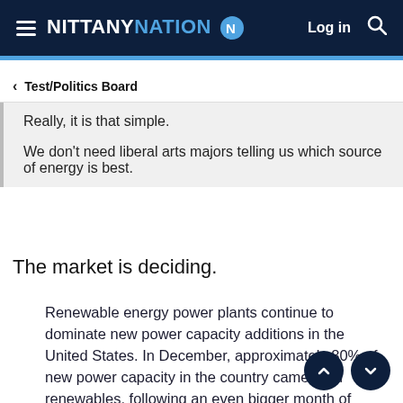NITTANY NATION — Log in
< Test/Politics Board
Really, it is that simple.

We don't need liberal arts majors telling us which source of energy is best.
The market is deciding.
Renewable energy power plants continue to dominate new power capacity additions in the United States. In December, approximately 80% of new power capacity in the country came from renewables, following an even bigger month of November in which the split was 90% for renewables. For the full year, renewables accounted for 83–84% of new power capacity.